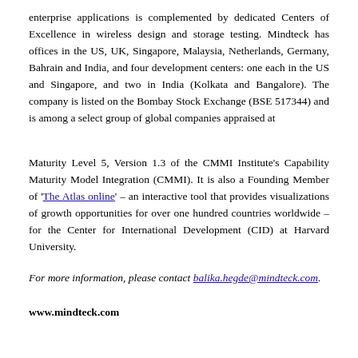enterprise applications is complemented by dedicated Centers of Excellence in wireless design and storage testing. Mindteck has offices in the US, UK, Singapore, Malaysia, Netherlands, Germany, Bahrain and India, and four development centers: one each in the US and Singapore, and two in India (Kolkata and Bangalore). The company is listed on the Bombay Stock Exchange (BSE 517344) and is among a select group of global companies appraised at
Maturity Level 5, Version 1.3 of the CMMI Institute's Capability Maturity Model Integration (CMMI). It is also a Founding Member of 'The Atlas online' – an interactive tool that provides visualizations of growth opportunities for over one hundred countries worldwide – for the Center for International Development (CID) at Harvard University.
For more information, please contact balika.hegde@mindteck.com.
www.mindteck.com